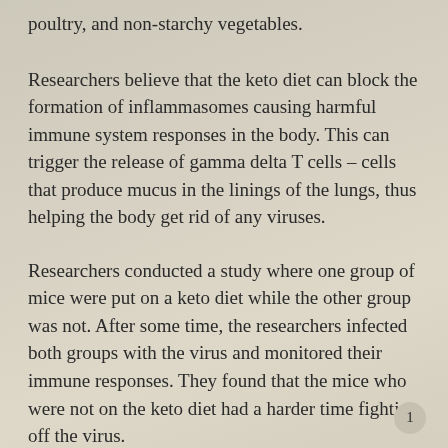poultry, and non-starchy vegetables.
Researchers believe that the keto diet can block the formation of inflammasomes causing harmful immune system responses in the body. This can trigger the release of gamma delta T cells – cells that produce mucus in the linings of the lungs, thus helping the body get rid of any viruses.
Researchers conducted a study where one group of mice were put on a keto diet while the other group was not. After some time, the researchers infected both groups with the virus and monitored their immune responses. They found that the mice who were not on the keto diet had a harder time fighting off the virus.
The results from this study show that changing a diet can have a dramatic effect on how the body reacts to viruses.